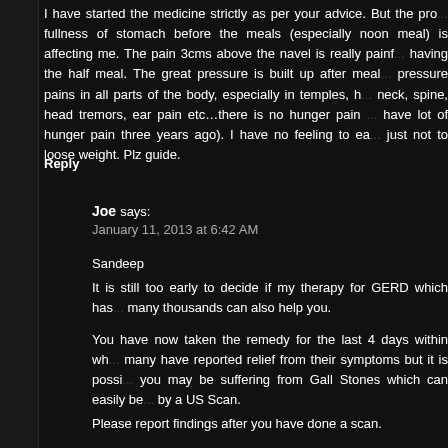I have started the medicine strictly as per your advice. But the pro... fullness of stomach before the meals (especially noon meal) is affecting me. The pain 3cms above the navel is really painf... having the half meal. The great pressure is built up after meal... pressure pains in all parts of the body, especially in temples, h... neck, spine, head tremors, ear pain etc…there is no hunger pain ... have lot of hunger pain three years ago). I have no feeling to ea... just not to loose weight. Plz guide.
Reply
Joe says:
January 11, 2013 at 6:42 AM
Sandeep
It is still too early to decide if my therapy for GERD which has... many thousands can also help you.
You have now taken the remedy for the last 4 days within wh... many have reported relief from their symptoms but it is possi... you may be suffering from Gall Stones which can easily be... by a US Scan.
Please report findings after you have done a scan.
Reply
Sandeep says: